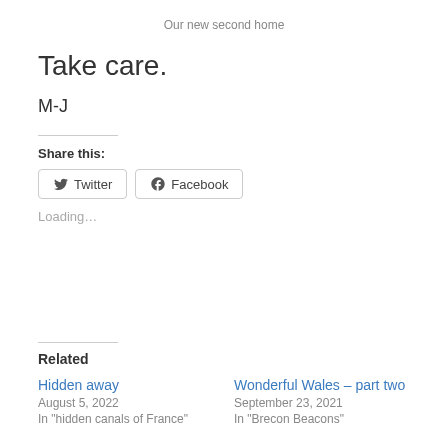Our new second home
Take care.
M-J
Share this:
[Figure (other): Twitter and Facebook share buttons]
Loading…
Related
Hidden away
August 5, 2022
In "hidden canals of France"
Wonderful Wales – part two
September 23, 2021
In "Brecon Beacons"